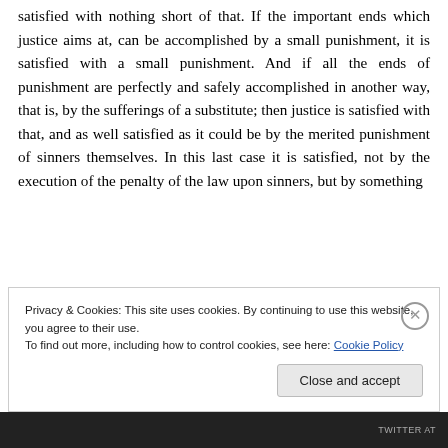should cause a great and endless misery; justice will be satisfied with nothing short of that. If the important ends which justice aims at, can be accomplished by a small punishment, it is satisfied with a small punishment. And if all the ends of punishment are perfectly and safely accomplished in another way, that is, by the sufferings of a substitute; then justice is satisfied with that, and as well satisfied as it could be by the merited punishment of sinners themselves. In this last case it is satisfied, not by the execution of the penalty of the law upon sinners, but by something
Privacy & Cookies: This site uses cookies. By continuing to use this website, you agree to their use.
To find out more, including how to control cookies, see here: Cookie Policy
TWITTER AT